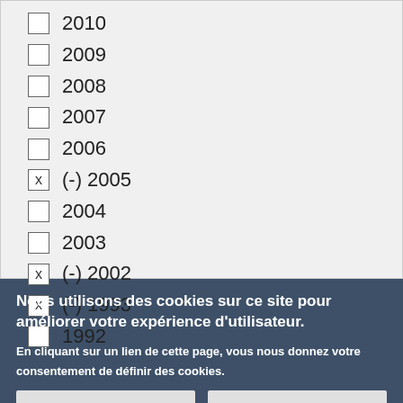2010
2009
2008
2007
2006
(-) 2005
2004
2003
(-) 2002
(-) 1993
1992
Nous utilisons des cookies sur ce site pour améliorer votre expérience d'utilisateur.
En cliquant sur un lien de cette page, vous nous donnez votre consentement de définir des cookies.